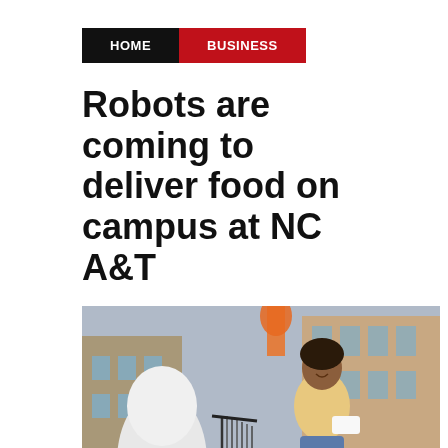HOME  BUSINESS
Robots are coming to deliver food on campus at NC A&T
[Figure (photo): A smiling woman in a yellow NC A&T t-shirt bends toward a white delivery robot on outdoor campus steps in front of a brick building, holding a food container.]